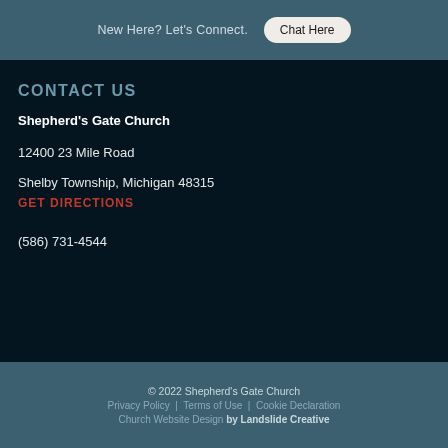New Here? Let's Connect.
Chat Here
CONTACT US
Shepherd's Gate Church
12400 23 Mile Road
Shelby Township, Michigan 48315
GET DIRECTIONS
(586) 731-4544
© 2022 Shepherd's Gate Church Privacy Policy | Terms of Use | Cookie Declaration Church Website Design by Landslide Creative